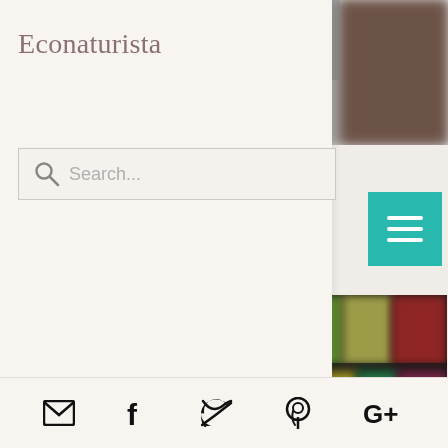[Figure (screenshot): Blurred background image at top, behind the white card overlay]
Econaturista
[Figure (screenshot): Search bar with magnifying glass icon and placeholder text 'Search...']
[Figure (screenshot): Teal hamburger menu button with three white horizontal lines]
[Figure (screenshot): Blurred bookshelf image with colorful book spines arranged on shelves]
[Figure (screenshot): Social media icons bar at bottom: email, Facebook, Twitter, Pinterest, Google+]